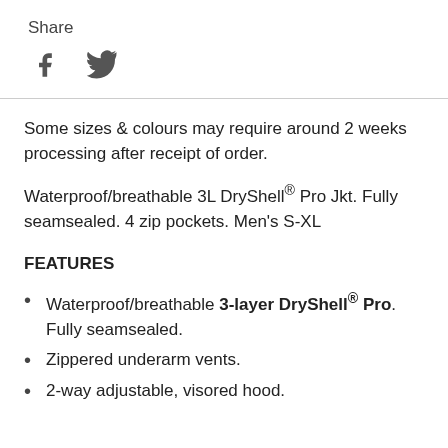Share
[Figure (illustration): Social media share icons: Facebook (f) and Twitter (bird)]
Some sizes & colours may require around 2 weeks processing after receipt of order.
Waterproof/breathable 3L DryShell® Pro Jkt. Fully seamsealed. 4 zip pockets. Men's S-XL
FEATURES
Waterproof/breathable 3-layer DryShell® Pro. Fully seamsealed.
Zippered underarm vents.
2-way adjustable, visored hood.